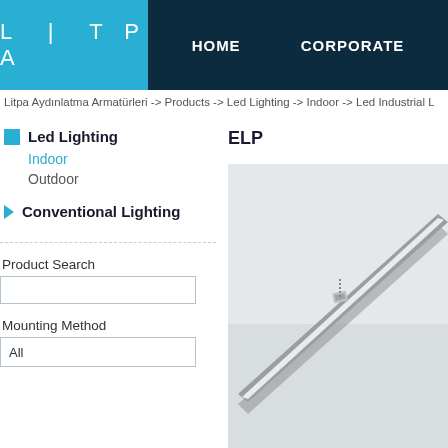LITPA | HOME | CORPORATE
Litpa Aydınlatma Armatürleri -> Products -> Led Lighting -> Indoor -> Led Industrial L
Led Lighting
Indoor
Outdoor
Conventional Lighting
Product Search
Mounting Method
All
ELP
[Figure (photo): Close-up photo of an ELP LED linear industrial luminaire mounted at an angle, showing a slim aluminum profile with a white diffuser cover against a light grey background.]